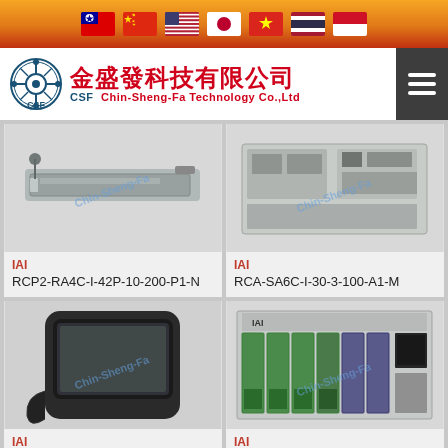Flag navigation bar with country flags
[Figure (logo): Chin-Sheng-Fa Technology Co., Ltd company logo with Chinese characters 金盛發科技有限公司]
[Figure (photo): IAI RCP2-RA4C-I-42P-10-200-P1-N linear actuator product photo with Chin-Sheng-Fa watermark]
IAI
RCP2-RA4C-I-42P-10-200-P1-N
[Figure (photo): IAI RCA-SA6C-I-30-3-100-A1-M servo actuator product photo with Chin-Sheng-Fa watermark]
IAI
RCA-SA6C-I-30-3-100-A1-M
[Figure (photo): IAI PCRB4-MUSA7-B teach pendant product photo with Chin-Sheng-Fa watermark]
IAI
PCRB4-MUSA7-B
[Figure (photo): IAI XSEL-P-6-30DIL-30DI controller product photo with Chin-Sheng-Fa watermark]
IAI
XSEL-P-6-30DIL-30DI